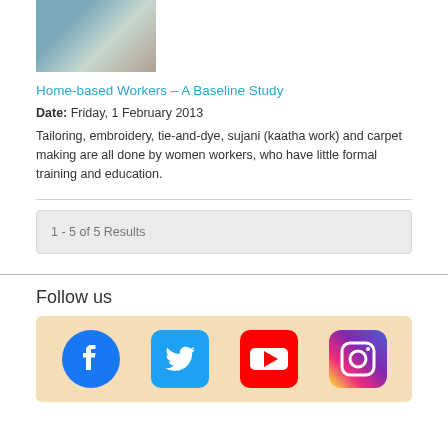[Figure (photo): Thumbnail image of a person working, possibly carpentry or craft work]
Home-based Workers – A Baseline Study
Date: Friday, 1 February 2013
Tailoring, embroidery, tie-and-dye, sujani (kaatha work) and carpet making are all done by women workers, who have little formal training and education.
1 - 5 of 5 Results
Follow us
[Figure (logo): Social media icons: Facebook, Twitter, YouTube, Instagram]